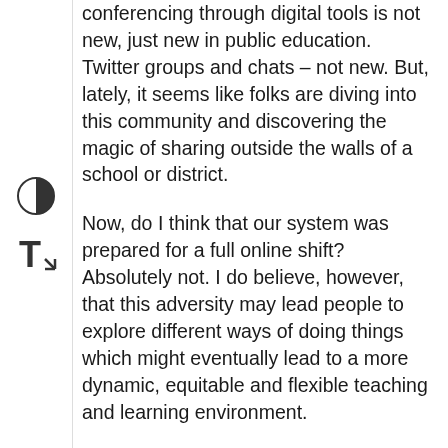[Figure (other): Left sidebar with two accessibility icons: a contrast toggle icon (half-black half-white circle) and a text resize icon (T with resize arrows)]
conferencing through digital tools is not new, just new in public education. Twitter groups and chats – not new. But, lately, it seems like folks are diving into this community and discovering the magic of sharing outside the walls of a school or district.
Now, do I think that our system was prepared for a full online shift? Absolutely not. I do believe, however, that this adversity may lead people to explore different ways of doing things which might eventually lead to a more dynamic, equitable and flexible teaching and learning environment.
Back to Twitter. It has been almost 12 years since I've been using Twitter as a learning and sharing tool and about 10 years of teaching online courses. During these years, I have found many friends and colleagues (from across the world) who are like minded in their / our drive to improve education structures with the